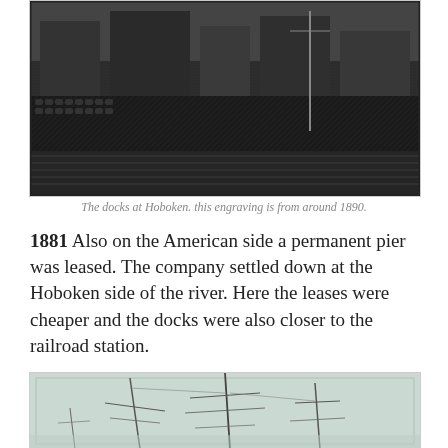[Figure (photo): Aerial engraving view of the docks at Hoboken, circa 1890, showing dense rows of barrels, buildings, and dock structures in a detailed black and white engraving style.]
The docks at Hoboken. this engraving is from around 1890.
1881  Also on the American side a permanent pier was leased. The company settled down at the Hoboken side of the river. Here the leases were cheaper and the docks were also closer to the railroad station.
[Figure (photo): A faded historical photograph showing sailing ship masts and rigging at a dock, with a pale grayish-green background suggesting an old photographic print.]